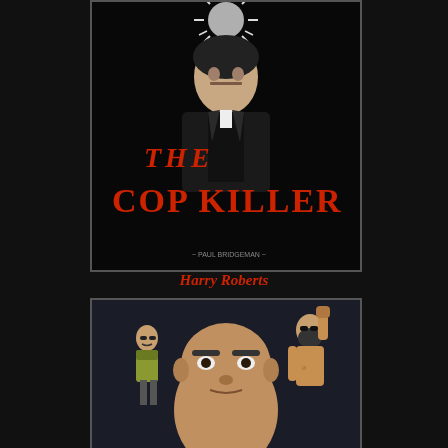[Figure (illustration): A dark painting/artwork showing a man in a suit with police-style badge/helmet motif at top. Bold red text reads 'THE COP KILLER' over the dark background. Small signature at bottom reads '~ PAUL BRIDGEMAN ~'.]
Harry Roberts
[Figure (illustration): A dark toned painting showing three depictions of the same bald man: on left wearing a yellow-green jacket standing small, in center a large close-up face, and on right a shirtless bearded muscular figure with fist raised.]